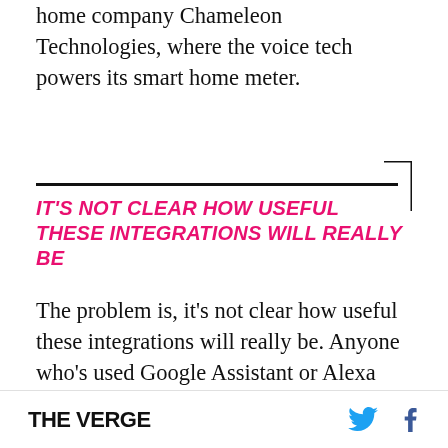home company Chameleon Technologies, where the voice tech powers its smart home meter.
IT'S NOT CLEAR HOW USEFUL THESE INTEGRATIONS WILL REALLY BE
The problem is, it's not clear how useful these integrations will really be. Anyone who's used Google Assistant or Alexa knows how inconsistent these products are, so why would we expect companies without their expertise to do a better job when adapting off-the-shelf services? To take a cynical view, it seems like companies are adding voice controls just to say they can — not because
THE VERGE